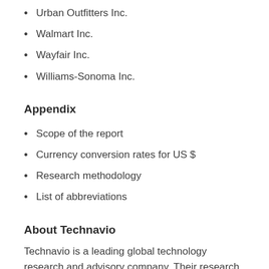Urban Outfitters Inc.
Walmart Inc.
Wayfair Inc.
Williams-Sonoma Inc.
Appendix
Scope of the report
Currency conversion rates for US $
Research methodology
List of abbreviations
About Technavio
Technavio is a leading global technology research and advisory company. Their research and analysis focus on emerging market trends and provide actionable insights to help businesses identify market opportunities and